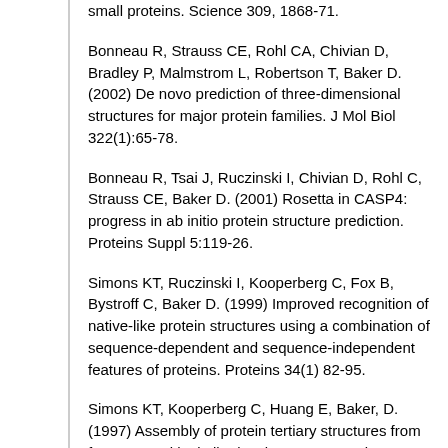small proteins. Science 309, 1868-71.
Bonneau R, Strauss CE, Rohl CA, Chivian D, Bradley P, Malmstrom L, Robertson T, Baker D. (2002) De novo prediction of three-dimensional structures for major protein families. J Mol Biol 322(1):65-78.
Bonneau R, Tsai J, Ruczinski I, Chivian D, Rohl C, Strauss CE, Baker D. (2001) Rosetta in CASP4: progress in ab initio protein structure prediction. Proteins Suppl 5:119-26.
Simons KT, Ruczinski I, Kooperberg C, Fox B, Bystroff C, Baker D. (1999) Improved recognition of native-like protein structures using a combination of sequence-dependent and sequence-independent features of proteins. Proteins 34(1) 82-95.
Simons KT, Kooperberg C, Huang E, Baker, D. (1997) Assembly of protein tertiary structures from fragments with similar local sequences using simulate anealing and Bayesian scoring functions. J Mol Biol 268:209-25.